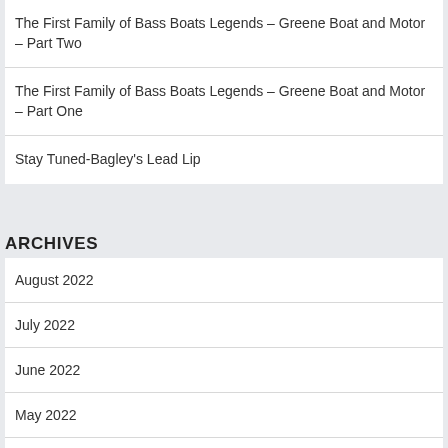The First Family of Bass Boats Legends – Greene Boat and Motor – Part Two
The First Family of Bass Boats Legends – Greene Boat and Motor – Part One
Stay Tuned-Bagley's Lead Lip
ARCHIVES
August 2022
July 2022
June 2022
May 2022
April 2022